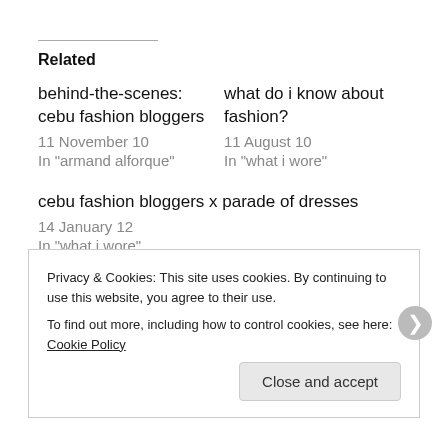Related
behind-the-scenes: cebu fashion bloggers
11 November 10
In "armand alforque"
what do i know about fashion?
11 August 10
In "what i wore"
cebu fashion bloggers x parade of dresses
14 January 12
In "what i wore"
Privacy & Cookies: This site uses cookies. By continuing to use this website, you agree to their use.
To find out more, including how to control cookies, see here: Cookie Policy